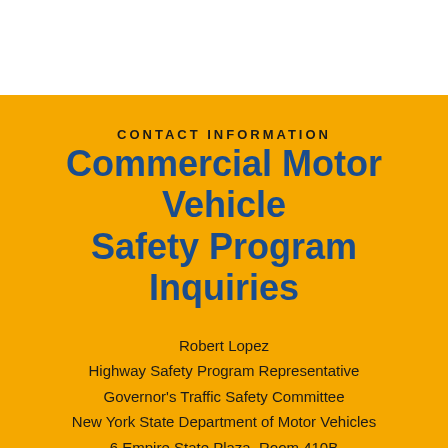CONTACT INFORMATION
Commercial Motor Vehicle Safety Program Inquiries
Robert Lopez
Highway Safety Program Representative
Governor's Traffic Safety Committee
New York State Department of Motor Vehicles
6 Empire State Plaza, Room 410B
Albany, NY 12228
518-474-5111